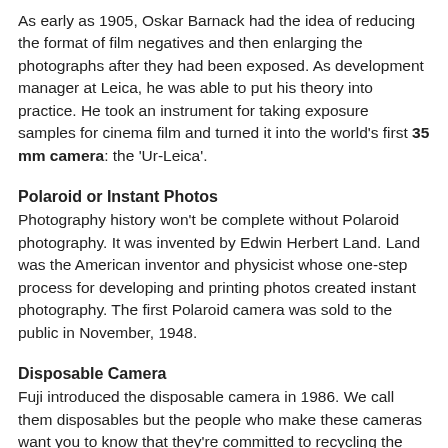As early as 1905, Oskar Barnack had the idea of reducing the format of film negatives and then enlarging the photographs after they had been exposed. As development manager at Leica, he was able to put his theory into practice. He took an instrument for taking exposure samples for cinema film and turned it into the world's first 35 mm camera: the 'Ur-Leica'.
Polaroid or Instant Photos
Photography history won't be complete without Polaroid photography. It was invented by Edwin Herbert Land. Land was the American inventor and physicist whose one-step process for developing and printing photos created instant photography. The first Polaroid camera was sold to the public in November, 1948.
Disposable Camera
Fuji introduced the disposable camera in 1986. We call them disposables but the people who make these cameras want you to know that they're committed to recycling the parts, a message they've attempted to convey by calling their products "single-use cameras."